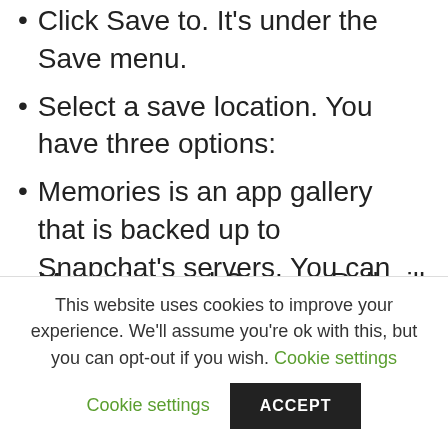Click Save to. It's under the Save menu.
Select a save location. You have three options:
Memories is an app gallery that is backed up to Snapchat's servers. You can access Memories by swiping up from the camera screen, and photos saved in Memories can be downloaded or shared at any time.
Memories and Camera Roll will save
This website uses cookies to improve your experience. We'll assume you're ok with this, but you can opt-out if you wish. Cookie settings ACCEPT